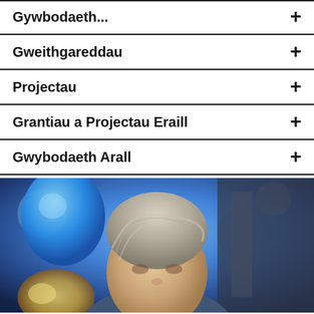Gweithgareddau +
Projectau +
Grantiau a Projectau Eraill +
Gwybodaeth Arall +
[Figure (photo): Photograph of a person with grey hair, partially cropped, with blue balloon and bokeh background]